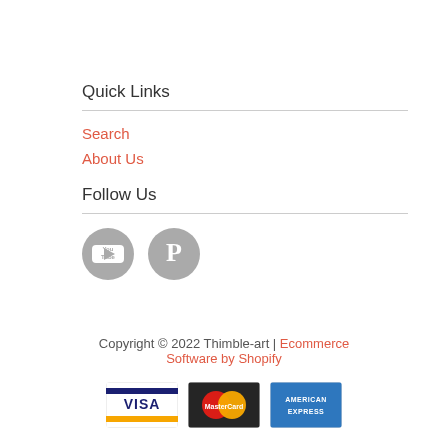Quick Links
Search
About Us
Follow Us
[Figure (illustration): YouTube and Pinterest social media icons as grey circles]
Copyright © 2022 Thimble-art | Ecommerce Software by Shopify
[Figure (illustration): Payment icons: Visa, MasterCard, American Express]